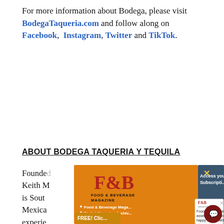For more information about Bodega, please visit BodegaTaqueria.com and follow along on Facebook, Instagram, Twitter and TikTok.
ABOUT BODEGA TAQUERIA Y TEQUILA
Founded ... Keith M... Tequila is South... Mexican... experience... cocktail... extensive... along with unconventional and innovative interpretations. Since its inception, Bodega Taqueria & Tequila has been nationally recognized and revered... one of the region's hottest culinary and night life...
[Figure (screenshot): Pop-up overlay showing Food & Beverage Magazine logo and subscription prompt with orange and dark blue panels, and a nested chat widget popup.]